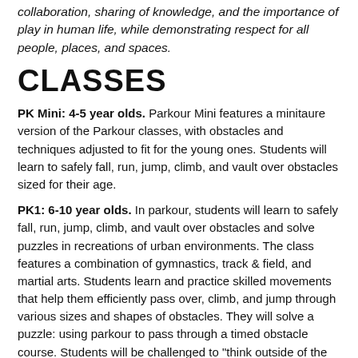collaboration, sharing of knowledge, and the importance of play in human life, while demonstrating respect for all people, places, and spaces.
CLASSES
PK Mini: 4-5 year olds. Parkour Mini features a minitaure version of the Parkour classes, with obstacles and techniques adjusted to fit for the young ones. Students will learn to safely fall, run, jump, climb, and vault over obstacles sized for their age.
PK1: 6-10 year olds. In parkour, students will learn to safely fall, run, jump, climb, and vault over obstacles and solve puzzles in recreations of urban environments. The class features a combination of gymnastics, track & field, and martial arts. Students learn and practice skilled movements that help them efficiently pass over, climb, and jump through various sizes and shapes of obstacles. They will solve a puzzle: using parkour to pass through a timed obstacle course. Students will be challenged to "think outside of the box" while having fun and staying fit!